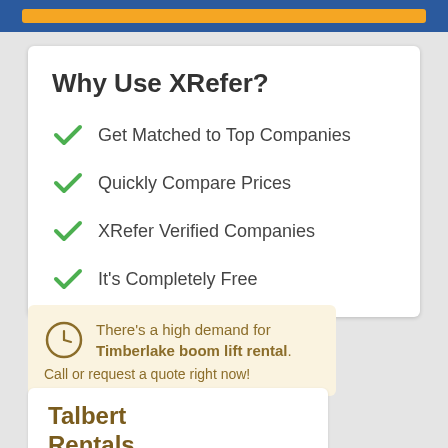[Figure (other): Top navigation banner with blue background and orange button]
Why Use XRefer?
Get Matched to Top Companies
Quickly Compare Prices
XRefer Verified Companies
It's Completely Free
There's a high demand for Timberlake boom lift rental. Call or request a quote right now!
Talbert Rentals